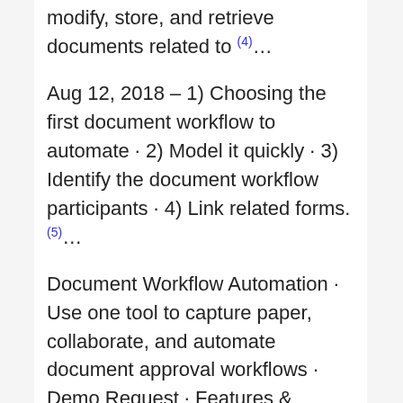modify, store, and retrieve documents related to (4)…
Aug 12, 2018 – 1) Choosing the first document workflow to automate · 2) Model it quickly · 3) Identify the document workflow participants · 4) Link related forms.(5)…
Document Workflow Automation · Use one tool to capture paper, collaborate, and automate document approval workflows · Demo Request · Features & Benefits of Sep 16, 2015 · Uploaded by DocsvaultWhat is Document Workflow Management?What Are Some Examples